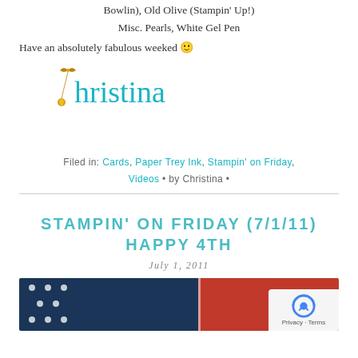Bowlin), Old Olive (Stampin’ Up!)
Misc. Pearls, White Gel Pen
Have an absolutely fabulous weeked 🙂
[Figure (illustration): Christina signature logo in teal cursive with bow decoration]
Filed in: Cards, Paper Trey Ink, Stampin’ on Friday, Videos • by Christina •
STAMPIN’ ON FRIDAY (7/1/11) HAPPY 4TH
July 1, 2011
[Figure (photo): Patriotic card with navy polka dot and red fabric/paper design with white stitching details]